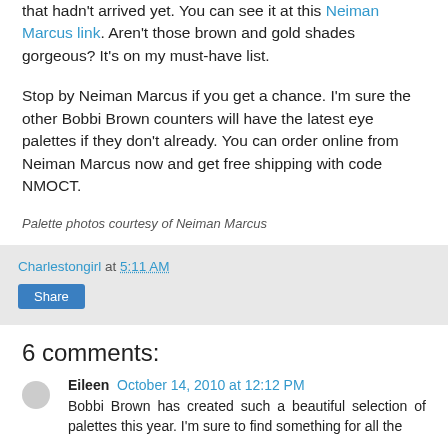that hadn't arrived yet. You can see it at this Neiman Marcus link. Aren't those brown and gold shades gorgeous? It's on my must-have list.
Stop by Neiman Marcus if you get a chance. I'm sure the other Bobbi Brown counters will have the latest eye palettes if they don't already. You can order online from Neiman Marcus now and get free shipping with code NMOCT.
Palette photos courtesy of Neiman Marcus
Charlestongirl at 5:11 AM
Share
6 comments:
Eileen October 14, 2010 at 12:12 PM
Bobbi Brown has created such a beautiful selection of palettes this year. I'm sure to find something for all the